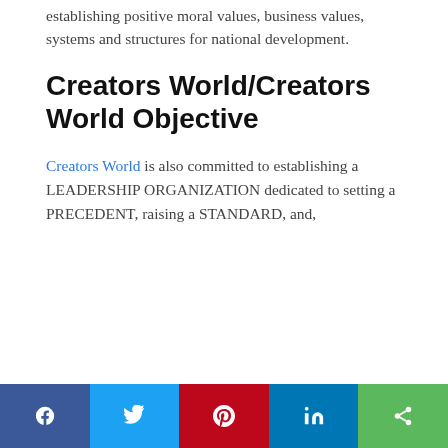establishing positive moral values, business values, systems and structures for national development.
Creators World/Creators World Objective
Creators World is also committed to establishing a LEADERSHIP ORGANIZATION dedicated to setting a PRECEDENT, raising a STANDARD, and,
Social share bar: Facebook, Twitter, Pinterest, LinkedIn, Share